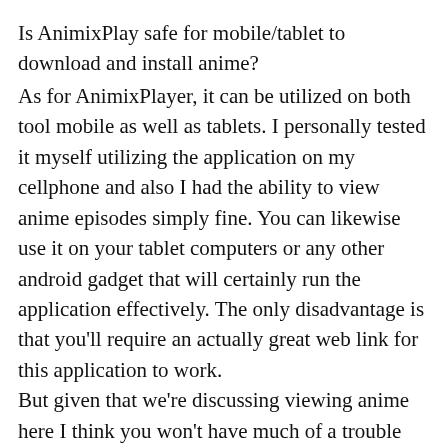Is AnimixPlay safe for mobile/tablet to download and install anime?
As for AnimixPlayer, it can be utilized on both tool mobile as well as tablets. I personally tested it myself utilizing the application on my cellphone and also I had the ability to view anime episodes simply fine. You can likewise use it on your tablet computers or any other android gadget that will certainly run the application effectively. The only disadvantage is that you'll require an actually great web link for this application to work.
But given that we're discussing viewing anime here I think you won't have much of a trouble with the rate at which this app needs to tons. All you require is a decent network and also wifi and also every little